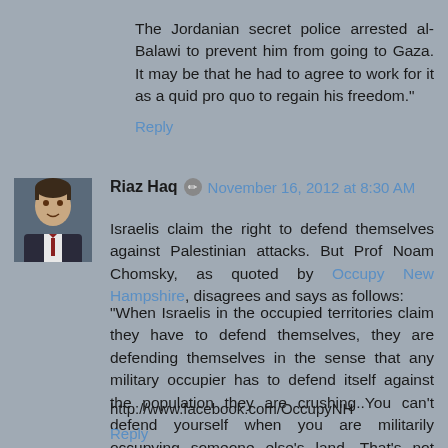The Jordanian secret police arrested al-Balawi to prevent him from going to Gaza. It may be that he had to agree to work for it as a quid pro quo to regain his freedom."
Reply
Riaz Haq  November 16, 2012 at 8:30 AM
Israelis claim the right to defend themselves against Palestinian attacks. But Prof Noam Chomsky, as quoted by Occupy New Hampshire, disagrees and says as follows:
"When Israelis in the occupied territories claim they have to defend themselves, they are defending themselves in the sense that any military occupier has to defend itself against the population they are crushing..You can't defend yourself when you are militarily occupying someone else's land. That's not defense. Call it what you like, it's not defense."
http://www.facebook.com/OccupyNH
Reply